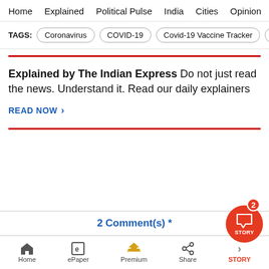Home  Explained  Political Pulse  India  Cities  Opinion  Entertainment
TAGS: Coronavirus  COVID-19  Covid-19 Vaccine Tracker  Exp
Explained by The Indian Express Do not just read the news. Understand it. Read our daily explainers
READ NOW >
2 Comment(s) *
Home  ePaper  Premium  Share  STORY